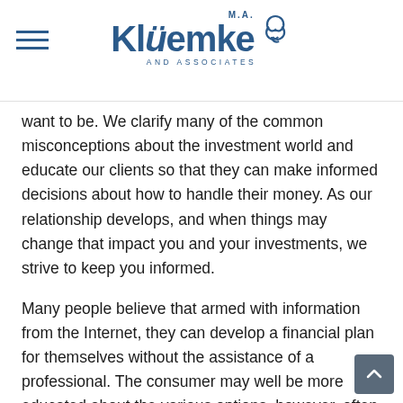M.A. Kluemke and Associates
want to be. We clarify many of the common misconceptions about the investment world and educate our clients so that they can make informed decisions about how to handle their money. As our relationship develops, and when things may change that impact you and your investments, we strive to keep you informed.
Many people believe that armed with information from the Internet, they can develop a financial plan for themselves without the assistance of a professional. The consumer may well be more educated about the various options, however, often times they fall short when it comes to determining the course that is best for them based on their unique circumstances. Articles written and posted on the Internet, even if they are not sales-oriented in nature, are developed based on someone's perception of their own situation and perhaps the situations of others.